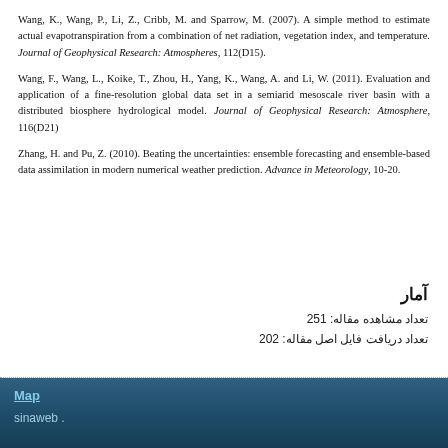Wang, K., Wang, P., Li, Z., Cribb, M. and Sparrow, M. (2007). A simple method to estimate actual evapotranspiration from a combination of net radiation, vegetation index, and temperature. Journal of Geophysical Research: Atmospheres, 112(D15).
Wang, F., Wang, L., Koike, T., Zhou, H., Yang, K., Wang, A. and Li, W. (2011). Evaluation and application of a fine-resolution global data set in a semiarid mesoscale river basin with a distributed biosphere hydrological model. Journal of Geophysical Research: Atmosphere, 116(D21)
Zhang, H. and Pu, Z. (2010). Beating the uncertainties: ensemble forecasting and ensemble-based data assimilation in modern numerical weather prediction. Advance in Meteorology, 10-20.
آمار
تعداد مشاهده مقاله: 251
تعداد دریافت فایل اصل مقاله: 202
Map
sinaweb .